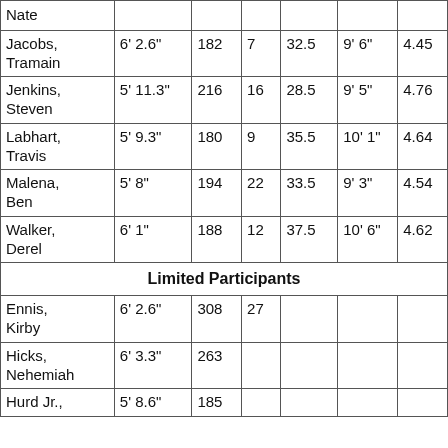| Name | Height | Weight | Bench | Broad Jump | Reach | 40yd |
| --- | --- | --- | --- | --- | --- | --- |
| Nate |  |  |  |  |  |  |
| Jacobs, Tramain | 6' 2.6" | 182 | 7 | 32.5 | 9' 6" | 4.45 |
| Jenkins, Steven | 5' 11.3" | 216 | 16 | 28.5 | 9' 5" | 4.76 |
| Labhart, Travis | 5' 9.3" | 180 | 9 | 35.5 | 10' 1" | 4.64 |
| Malena, Ben | 5' 8" | 194 | 22 | 33.5 | 9' 3" | 4.54 |
| Walker, Derel | 6' 1" | 188 | 12 | 37.5 | 10' 6" | 4.62 |
| [Limited Participants] |  |  |  |  |  |  |
| Ennis, Kirby | 6' 2.6" | 308 | 27 |  |  |  |
| Hicks, Nehemiah | 6' 3.3" | 263 |  |  |  |  |
| Hurd Jr., | 5' 8.6" | 185 |  |  |  |  |